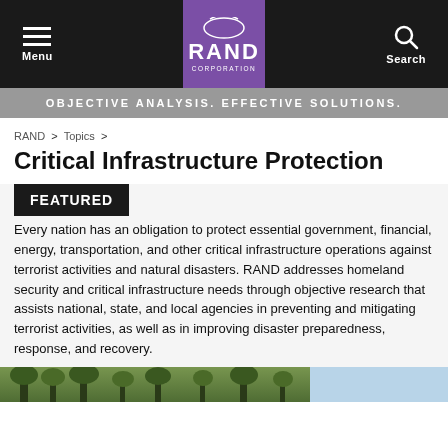Menu | RAND CORPORATION | Search
OBJECTIVE ANALYSIS. EFFECTIVE SOLUTIONS.
RAND > Topics >
Critical Infrastructure Protection
FEATURED
Every nation has an obligation to protect essential government, financial, energy, transportation, and other critical infrastructure operations against terrorist activities and natural disasters. RAND addresses homeland security and critical infrastructure needs through objective research that assists national, state, and local agencies in preventing and mitigating terrorist activities, as well as in improving disaster preparedness, response, and recovery.
[Figure (photo): Outdoor/nature photo strip at bottom of page, partially visible]